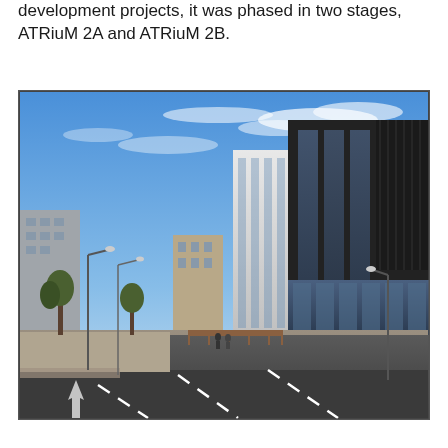development projects, it was phased in two stages, ATRiuM 2A and ATRiuM 2B.
[Figure (photo): Street-level photograph of modern multi-storey office/university buildings with white and dark glass facades under a blue sky with light clouds. A road with lane markings is visible in the foreground, with street lights and trees on the left side.]